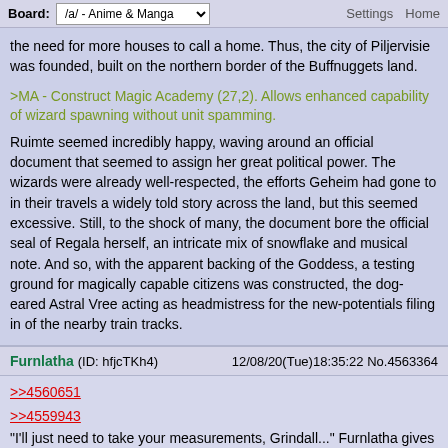Board: /a/ - Anime & Manga | Settings Home
the need for more houses to call a home. Thus, the city of Piljervisie was founded, built on the northern border of the Buffnuggets land.
>MA - Construct Magic Academy (27,2). Allows enhanced capability of wizard spawning without unit spamming.
Ruimte seemed incredibly happy, waving around an official document that seemed to assign her great political power. The wizards were already well-respected, the efforts Geheim had gone to in their travels a widely told story across the land, but this seemed excessive. Still, to the shock of many, the document bore the official seal of Regala herself, an intricate mix of snowflake and musical note. And so, with the apparent backing of the Goddess, a testing ground for magically capable citizens was constructed, the dog-eared Astral Vree acting as headmistress for the new-potentials filing in of the nearby train tracks.
Furnlatha (ID: hfjcTKh4)   12/08/20(Tue)18:35:22 No.4563364
>>4560651
>>4559943
"I'll just need to take your measurements, Grindall..." Furnlatha gives a dip of her head, and starts carefully assessing the god of the ground's remaining forelimb. "Better we try not to end up with one limb shorter. If you'll just hold still a moment..."